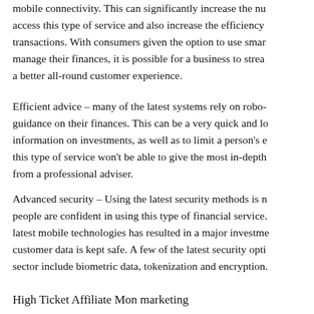mobile connectivity. This can significantly increase the number of people who can access this type of service and also increase the efficiency of financial transactions. With consumers given the option to use smartphones to manage their finances, it is possible for a business to streamline and create a better all-round customer experience.
Efficient advice – many of the latest systems rely on robo-advisers to give guidance on their finances. This can be a very quick and low-cost way to get information on investments, as well as to limit a person's exposure to risk. But this type of service won't be able to give the most in-depth advice available from a professional adviser.
Advanced security – Using the latest security methods is necessary to ensure people are confident in using this type of financial service. The adoption of the latest mobile technologies has resulted in a major investment to make sure customer data is kept safe. A few of the latest security options used in this sector include biometric data, tokenization and encryption.
High Ticket Affiliate Marketing